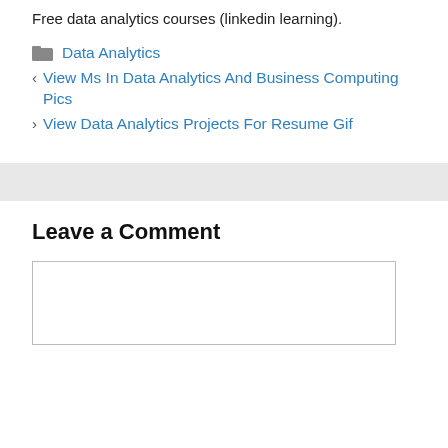Free data analytics courses (linkedin learning).
Data Analytics
View Ms In Data Analytics And Business Computing Pics
View Data Analytics Projects For Resume Gif
Leave a Comment